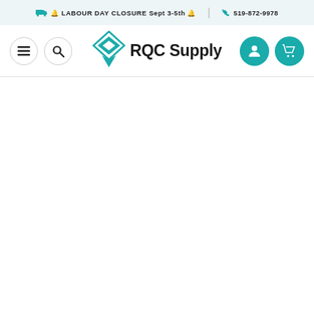🚚 🔔 LABOUR DAY CLOSURE Sept 3-5th 🔔  |  📞 519-872-9978
[Figure (logo): RQC Supply logo with teal diamond/rhombus icon and bold black text 'RQC Supply', flanked by menu (hamburger) and search icons on the left, and user account and shopping cart icons on the right]